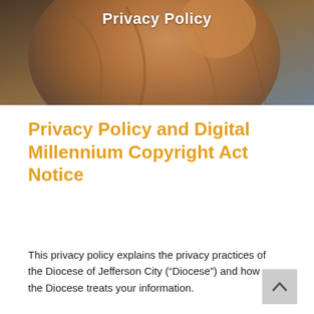[Figure (photo): A brown/tan religious statue figure photographed against a gray background, serving as a hero banner image for a Diocese privacy policy page.]
Privacy Policy
Privacy Policy and Digital Millennium Copyright Act Notice
This privacy policy explains the privacy practices of the Diocese of Jefferson City (“Diocese”) and how the Diocese treats your information.